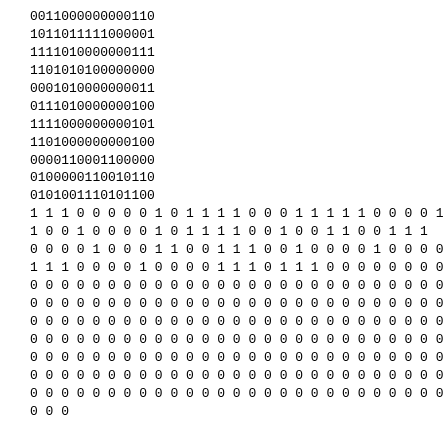0011000000000110
1011011111000001
1111010000000111
1101010100000000
0001010000000011
0111010000000100
1111000000000101
1101000000000100
0000110001100000
0100000110010110
0101001110101100
1 1 1 0 0 0 0 0 1 0 1 1 1 1 0 0 0 1 1 1 1 1 0 0 0 0 1
1 0 0 1 0 0 0 0 1 0 1 1 1 1 0 0 1 0 0 1 1 0 0 1 1 1
0 0 0 0 1 0 0 0 1 1 0 0 1 1 1 0 0 1 0 0 0 0 1 0 0 0 0
1 1 1 0 0 0 0 1 0 0 0 0 1 1 1 0 1 1 1 0 0 0 0 0 0 0 0
0 0 0 0 0 0 0 0 0 0 0 0 0 0 0 0 0 0 0 0 0 0 0 0 0 0 0
0 0 0 0 0 0 0 0 0 0 0 0 0 0 0 0 0 0 0 0 0 0 0 0 0 0 0
0 0 0 0 0 0 0 0 0 0 0 0 0 0 0 0 0 0 0 0 0 0 0 0 0 0 0
0 0 0 0 0 0 0 0 0 0 0 0 0 0 0 0 0 0 0 0 0 0 0 0 0 0 0
0 0 0 0 0 0 0 0 0 0 0 0 0 0 0 0 0 0 0 0 0 0 0 0 0 0 0
0 0 0 0 0 0 0 0 0 0 0 0 0 0 0 0 0 0 0 0 0 0 0 0 0 0 0
0 0 0 0 0 0 0 0 0 0 0 0 0 0 0 0 0 0 0 0 0 0 0 0 0 0 0
0 0 0